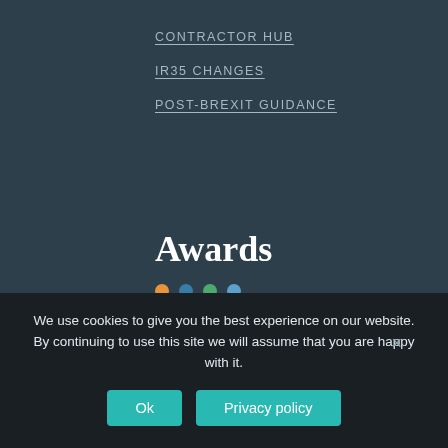CONTRACTOR HUB
IR35 CHANGES
POST-BREXIT GUIDANCE
Awards
Recruiter of the year 2019 and 2021.
APSCo Awards 2021, Recruitment Company of the Year.
We use cookies to give you the best experience on our website. By continuing to use this site we will assume that you are happy with it.